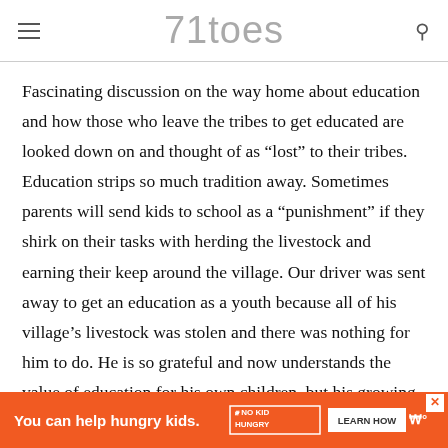71toes
Fascinating discussion on the way home about education and how those who leave the tribes to get educated are looked down on and thought of as “lost” to their tribes. Education strips so much tradition away. Sometimes parents will send kids to school as a “punishment” if they shirk on their tasks with herding the livestock and earning their keep around the village. Our driver was sent away to get an education as a youth because all of his village’s livestock was stolen and there was nothing for him to do. He is so grateful and now understands the value of education for his own children, but his growing-up family feel that he is “lost” to them in a way because of that education.
St
[Figure (infographic): Orange advertisement banner: 'You can help hungry kids.' with No Kid Hungry logo and 'LEARN HOW' button]